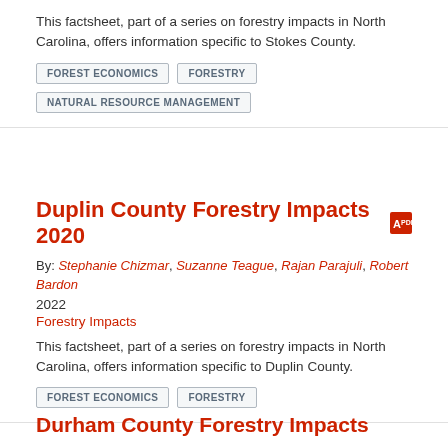This factsheet, part of a series on forestry impacts in North Carolina, offers information specific to Stokes County.
FOREST ECONOMICS
FORESTRY
NATURAL RESOURCE MANAGEMENT
Duplin County Forestry Impacts 2020
By: Stephanie Chizmar, Suzanne Teague, Rajan Parajuli, Robert Bardon
2022
Forestry Impacts
This factsheet, part of a series on forestry impacts in North Carolina, offers information specific to Duplin County.
FOREST ECONOMICS
FORESTRY
Durham County Forestry Impacts